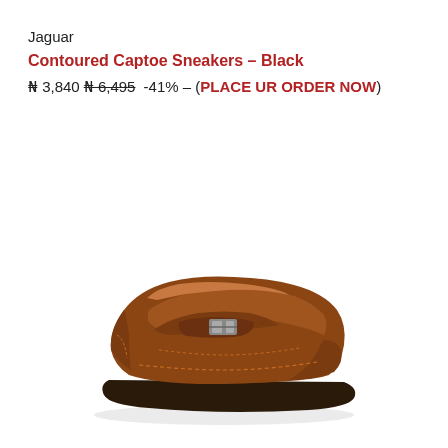Jaguar
Contoured Captoe Sneakers – Black
₦ 3,840 ₦ 6,495 -41% – (PLACE UR ORDER NOW)
[Figure (photo): Brown leather loafer/moccasin shoe with a metal bit detail on the strap, viewed from the side on a white background.]